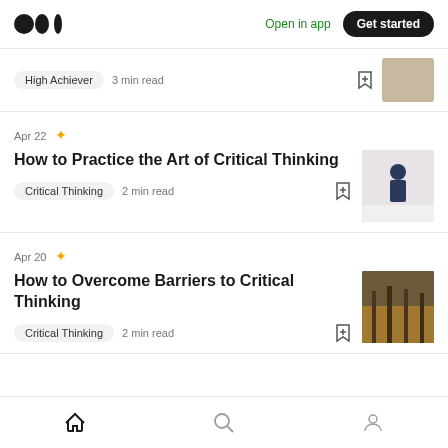[Figure (screenshot): Medium app screenshot showing article feed with navigation bar and two article listings]
High Achiever  3 min read
Apr 22 ✦
How to Practice the Art of Critical Thinking
Critical Thinking  2 min read
Apr 20 ✦
How to Overcome Barriers to Critical Thinking
Critical Thinking  2 min read